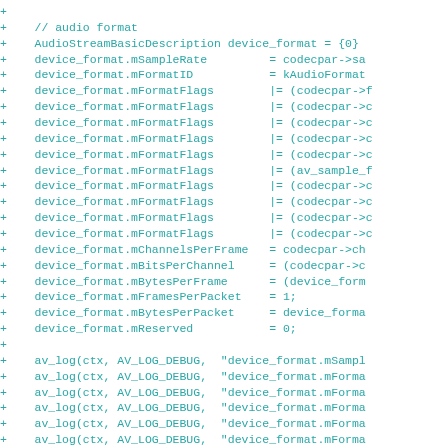[Figure (screenshot): Code diff showing addition of audio format configuration lines in C, including AudioStreamBasicDescription setup and av_log debug statements. Lines prefixed with '+' indicating added code.]